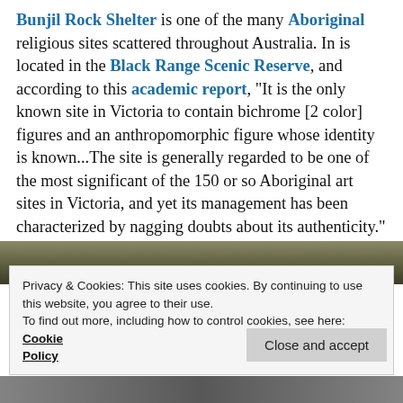Bunjil Rock Shelter is one of the many Aboriginal religious sites scattered throughout Australia. In is located in the Black Range Scenic Reserve, and according to this academic report, "It is the only known site in Victoria to contain bichrome [2 color] figures and an anthropomorphic figure whose identity is known...The site is generally regarded to be one of the most significant of the 150 or so Aboriginal art sites in Victoria, and yet its management has been characterized by nagging doubts about its authenticity."
[Figure (photo): Partial photo strip visible behind cookie banner, appears to show a website screenshot]
Privacy & Cookies: This site uses cookies. By continuing to use this website, you agree to their use.
To find out more, including how to control cookies, see here: Cookie Policy
Close and accept